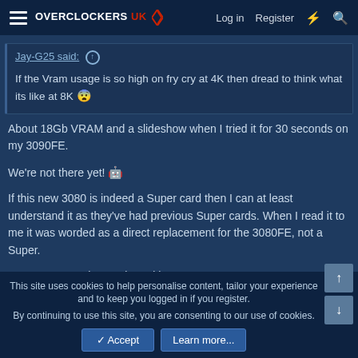Overclockers UK — Log in | Register
Jay-G25 said: If the Vram usage is so high on fry cry at 4K then dread to think what its like at 8K
About 18Gb VRAM and a slideshow when I tried it for 30 seconds on my 3090FE.

We're not there yet!

If this new 3080 is indeed a Super card then I can at least understand it as they've had previous Super cards. When I read it to me it was worded as a direct replacement for the 3080FE, not a Super.

However, I may have misread it.
This site uses cookies to help personalise content, tailor your experience and to keep you logged in if you register.
By continuing to use this site, you are consenting to our use of cookies.